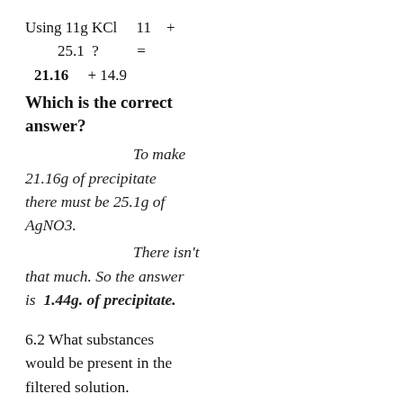Which is the correct answer?
To make 21.16g of precipitate there must be 25.1g of AgNO3.
There isn't that much. So the answer is 1.44g. of precipitate.
6.2 What substances would be present in the filtered solution.
There will